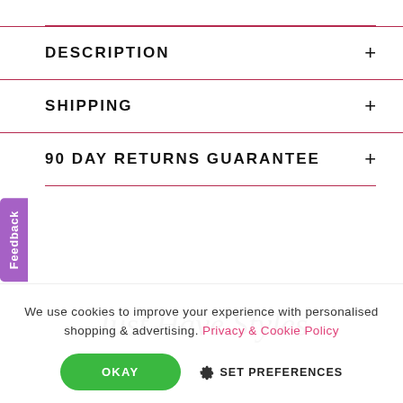DESCRIPTION
SHIPPING
90 DAY RETURNS GUARANTEE
[Figure (logo): Just Have Styles cursive script logo]
We use cookies to improve your experience with personalised shopping & advertising. Privacy & Cookie Policy
OKAY
SET PREFERENCES